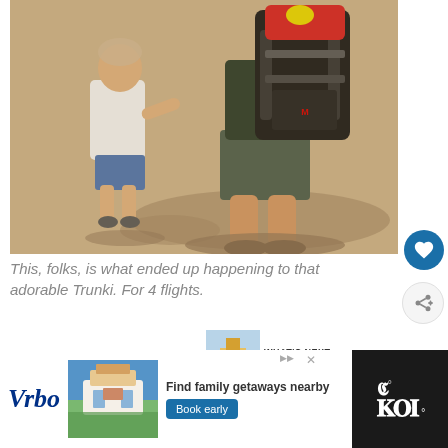[Figure (photo): A blurry outdoor photo of two people (an adult and a small child) walking, with a large backpack (red and black) on the adult's back. Sandy/concrete ground visible. Warm tones, slightly vintage filter.]
This, folks, is what ended up happening to that adorable Trunki. For 4 flights.
[Figure (photo): Small thumbnail image for 'What's Next' section]
WHAT'S NEXT → Exciting travel toys for a 2-...
[Figure (photo): Vrbo advertisement banner with beach house photo. Text reads: Find family getaways nearby. Book early button.]